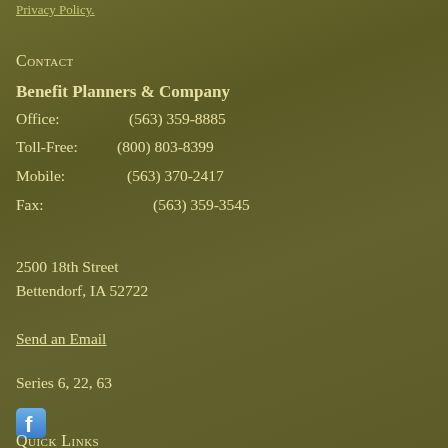Privacy Policy.
Contact
Benefit Planners & Company
Office:      (563) 359-8885
Toll-Free:  (800) 803-8399
Mobile:     (563) 370-2417
Fax:         (563) 359-3545
2500 18th Street
Bettendorf, IA 52722
Send an Email
Series 6, 22, 63
[Figure (logo): Facebook icon/logo small square button]
Quick Links